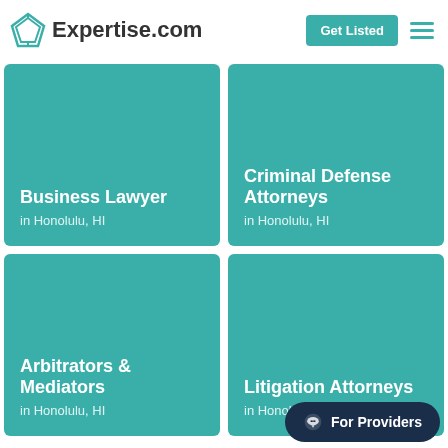Expertise.com — Get Listed
[Figure (screenshot): Teal card: Business Lawyer in Honolulu, HI]
[Figure (screenshot): Teal card: Criminal Defense Attorneys in Honolulu, HI]
[Figure (screenshot): Teal card: Arbitrators & Mediators in Honolulu, HI]
[Figure (screenshot): Teal card: Litigation Attorneys in Honolulu, HI]
For Providers